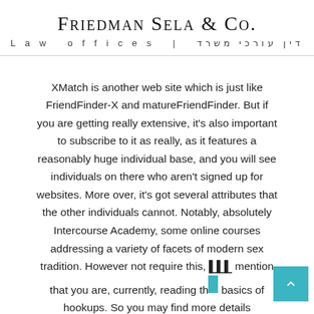Friedman Sela & Co. Law offices | משרד עורכי דין
XMatch is another web site which is just like FriendFinder-X and matureFriendFinder. But if you are getting really extensive, it's also important to subscribe to it as really, as it features a reasonably huge individual base, and you will see individuals on there who aren't signed up for websites. More over, it's got several attributes that the other individuals cannot. Notably, absolutely Intercourse Academy, some online courses addressing a variety of facets of modern sex tradition. However not require this, mention that you are, currently, reading the basics of hookups. So you may find more details